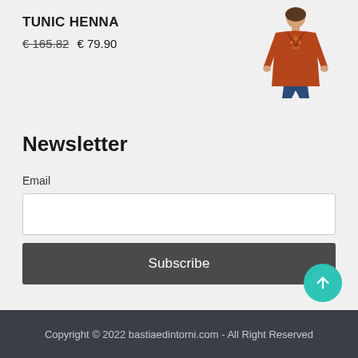TUNIC HENNA
€ 165.82  € 79.90
[Figure (photo): Product photo of a rust/orange embroidered tunic worn by a model, showing the upper body. The tunic has floral embroidery details at the front and long sleeves.]
Newsletter
Email
Subscribe
Copyright © 2022 bastiaedintorni.com - All Right Reserved